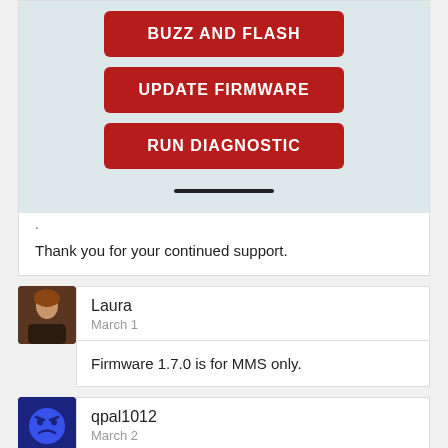[Figure (screenshot): Mobile app screen showing three red buttons: BUZZ AND FLASH, UPDATE FIRMWARE, RUN DIAGNOSTIC, with a scroll indicator bar at bottom, on a light blue-grey background]
.
Thank you for your continued support.
Laura
March 1
Firmware 1.7.0 is for MMS only.
qpal1012
March 2